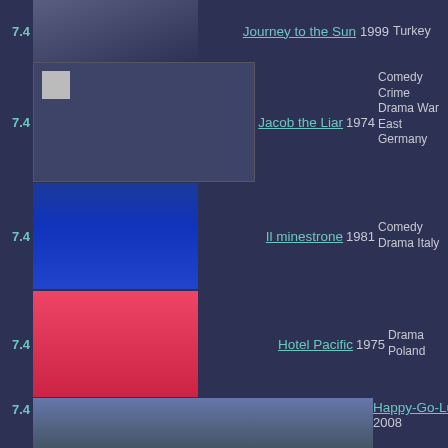7.4 | Journey to the Sun | 1999 | Turkey
7.4 | Jacob the Liar | 1974 | Comedy Crime Drama War East Germany
7.4 | Il minestrone | 1981 | Comedy Drama Italy
7.4 | Hotel Pacific | 1975 | Drama Poland
7.4 | Happy-Go-Lucky | 2008 | Comedy Drama Romance UK